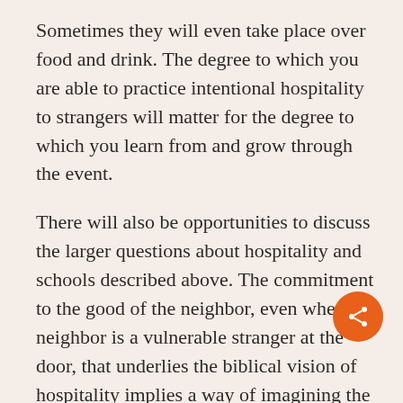Sometimes they will even take place over food and drink. The degree to which you are able to practice intentional hospitality to strangers will matter for the degree to which you learn from and grow through the event.
There will also be opportunities to discuss the larger questions about hospitality and schools described above. The commitment to the good of the neighbor, even when the neighbor is a vulnerable stranger at the door, that underlies the biblical vision of hospitality implies a way of imagining the world. If the Christian school might itself be a form of hospitality, if